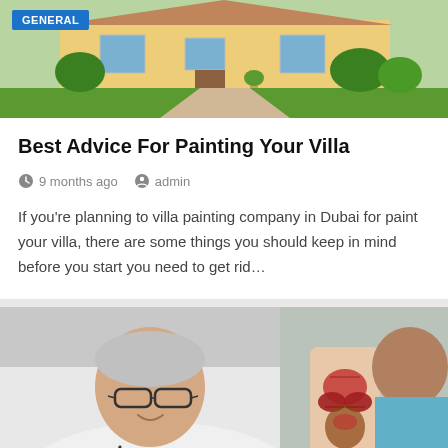[Figure (photo): Exterior of a villa/house with green lawn and driveway, sunny day]
GENERAL
Best Advice For Painting Your Villa
9 months ago   admin
If you're planning to villa painting company in Dubai for paint your villa, there are some things you should keep in mind before you start you need to get rid…
[Figure (photo): A doctor with glasses and stethoscope holding an anatomical torso model, speaking to a patient]
HEALTH AND MEDICAL